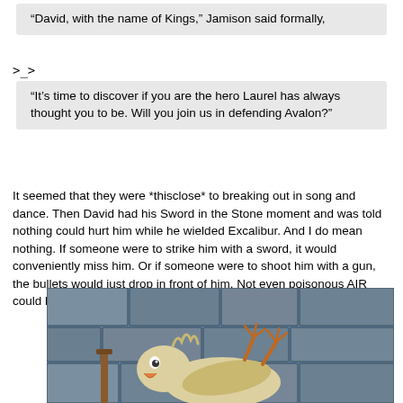“David, with the name of Kings,” Jamison said formally,
>_>
“It’s time to discover if you are the hero Laurel has always thought you to be. Will you join us in defending Avalon?”
It seemed that they were *thisclose* to breaking out in song and dance. Then David had his Sword in the Stone moment and was told nothing could hurt him while he wielded Excalibur. And I do mean nothing. If someone were to strike him with a sword, it would conveniently miss him. Or if someone were to shoot him with a gun, the bullets would just drop in front of him. Not even poisonous AIR could harm him.
[Figure (illustration): Cartoon illustration showing an animated bird or chicken character lying down against a stone wall background, with blue and grey tones.]